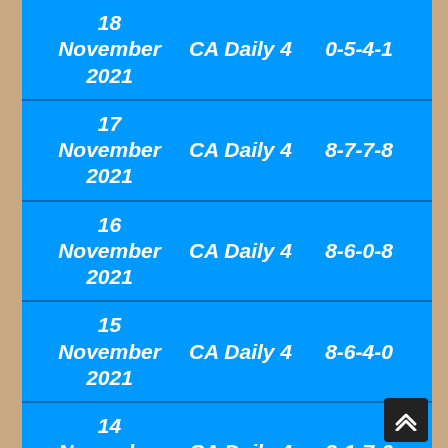| Date | Game | Result |
| --- | --- | --- |
| 18 November 2021 | CA Daily 4 | 0-5-4-1 |
| 17 November 2021 | CA Daily 4 | 8-7-7-8 |
| 16 November 2021 | CA Daily 4 | 8-6-0-8 |
| 15 November 2021 | CA Daily 4 | 8-6-4-0 |
| 14 November 2021 | CA Daily 4 | 2-1-7-0 |